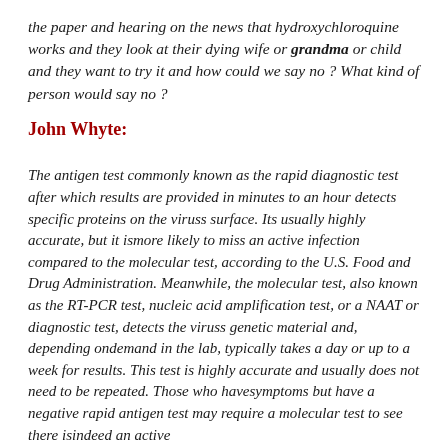the paper and hearing on the news that hydroxychloroquine works and they look at their dying wife or grandma or child and they want to try it and how could we say no ? What kind of person would say no ?
John Whyte:
The antigen test commonly known as the rapid diagnostic test after which results are provided in minutes to an hour detects specific proteins on the viruss surface. Its usually highly accurate, but it ismore likely to miss an active infection compared to the molecular test, according to the U.S. Food and Drug Administration. Meanwhile, the molecular test, also known as the RT-PCR test, nucleic acid amplification test, or a NAAT or diagnostic test, detects the viruss genetic material and, depending ondemand in the lab, typically takes a day or up to a week for results. This test is highly accurate and usually does not need to be repeated. Those who havesymptoms but have a negative rapid antigen test may require a molecular test to see there isindeed an active